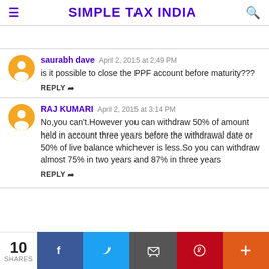SIMPLE TAX INDIA
saurabh dave  April 2, 2015 at 2:49 PM
is it possible to close the PPF account before maturity???
REPLY
RAJ KUMARI  April 2, 2015 at 3:14 PM
No,you can't.However you can withdraw 50% of amount held in account three years before the withdrawal date or 50% of live balance whichever is less.So you can withdraw almost 75% in two years and 87% in three years
REPLY
10 SHARES